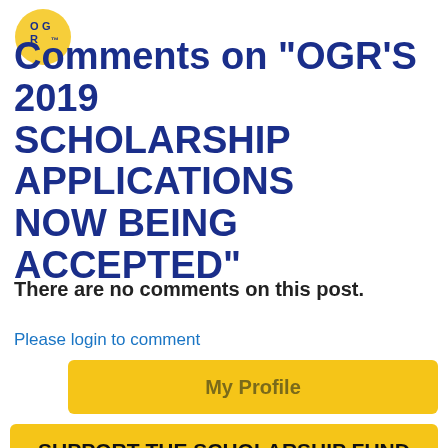[Figure (logo): OGR circular logo with gold/yellow background and letters O, G, R]
Comments on "OGR'S 2019 SCHOLARSHIP APPLICATIONS NOW BEING ACCEPTED"
There are no comments on this post.
Please login to comment
My Profile
SUPPORT THE SCHOLARSHIP FUND WITH EVERY PURCHASE